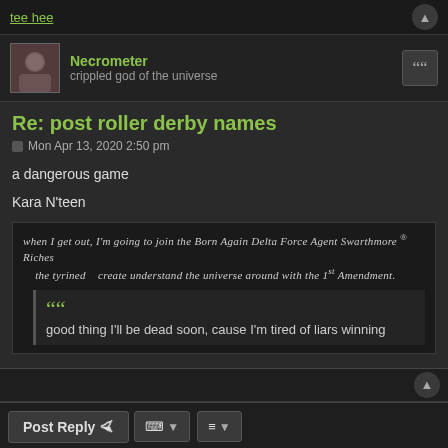tee hee
Necrometer
crippled god of the universe
Re: post roller derby names
Mon Apr 13, 2020 2:50 pm
a dangerous game
Kara N'teen
[Figure (other): Handwritten text in a dark box: 'when I get out, I'm going to join the Born Again Delta Force Agent Swarthmore Riches the tyrined  create understand the universe around with the 1st Amendment.' with a blockquote below: 'good thing I'll be dead soon, cause I'm tired of liars winning']
Post Reply | tools | list
240 posts  1 ... 6 7 8 9 10